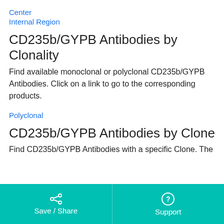Center
Internal Region
CD235b/GYPB Antibodies by Clonality
Find available monoclonal or polyclonal CD235b/GYPB Antibodies. Click on a link to go to the corresponding products.
Polyclonal
CD235b/GYPB Antibodies by Clone
Find CD235b/GYPB Antibodies with a specific Clone. The
Save / Share   Support